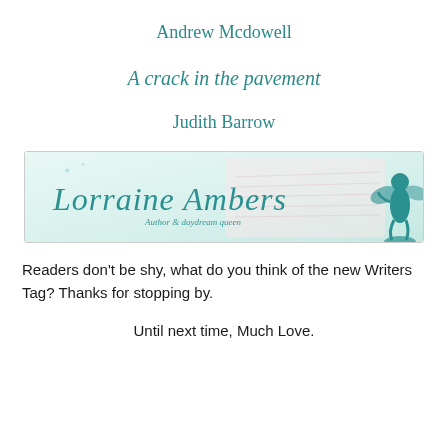Andrew Mcdowell
A crack in the pavement
Judith Barrow
[Figure (logo): Lorraine Ambers author blog banner with cursive teal text reading 'Lorraine Ambers' and subtitle 'Author & daydream queen', with a teal fairy silhouette on the right and a faint handwritten letter background]
Readers don't be shy, what do you think of the new Writers Tag? Thanks for stopping by.
Until next time, Much Love.